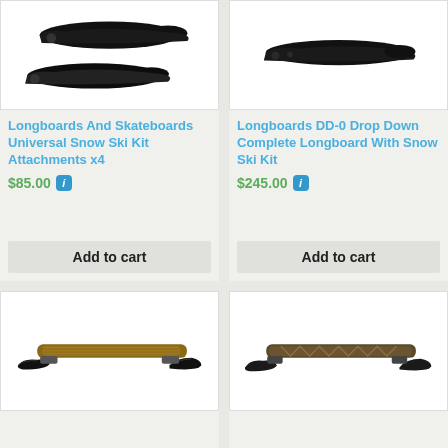[Figure (photo): Two black ski attachments for longboards/skateboards, viewed from above]
Longboards And Skateboards Universal Snow Ski Kit Attachments x4
$85.00
Add to cart
[Figure (photo): Black snow ski attachment for longboard, single piece viewed from above]
Longboards DD-0 Drop Down Complete Longboard With Snow Ski Kit
$245.00
Add to cart
[Figure (photo): Longboard with brown/wood colored snow ski kit attachments mounted, viewed from side]
[Figure (photo): Longboard with patterned snow ski kit attachments mounted, viewed from side]